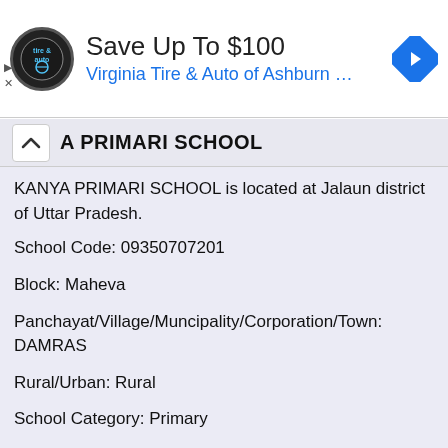[Figure (illustration): Advertisement banner: Virginia Tire & Auto of Ashburn. Save Up To $100. Shows tire & auto logo circle and blue navigation diamond icon.]
KANYA PRIMARI SCHOOL
KANYA PRIMARI SCHOOL is located at Jalaun district of Uttar Pradesh.
School Code: 09350707201
Block: Maheva
Panchayat/Village/Muncipality/Corporation/Town: DAMRAS
Rural/Urban: Rural
School Category: Primary
School Management: Department of Education
PRIMARI SCHOOL
PRIMARI SCHOOL is located at Jalaun district of U...